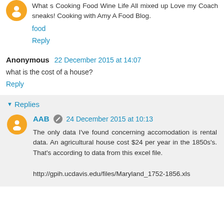What s Cooking Food Wine Life All mixed up Love my Coach sneaks! Cooking with Amy A Food Blog.
food
Reply
Anonymous  22 December 2015 at 14:07
what is the cost of a house?
Reply
Replies
AAB  24 December 2015 at 10:13
The only data I've found concerning accomodation is rental data. An agricultural house cost $24 per year in the 1850s's. That's according to data from this excel file.
http://gpih.ucdavis.edu/files/Maryland_1752-1856.xls